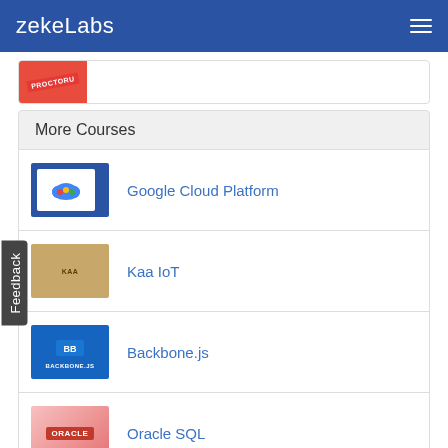zekeLabs
More Courses
Google Cloud Platform
Kaa IoT
Backbone.js
Oracle SQL
AWS Glue
Big data on AWS